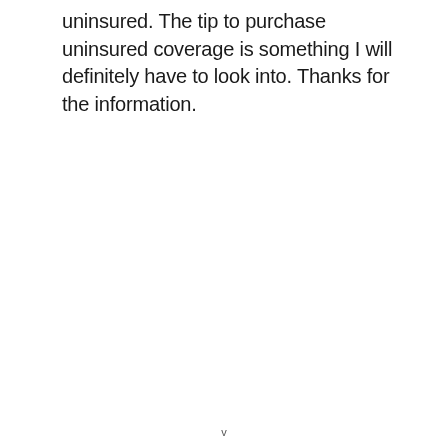uninsured. The tip to purchase uninsured coverage is something I will definitely have to look into. Thanks for the information.
v